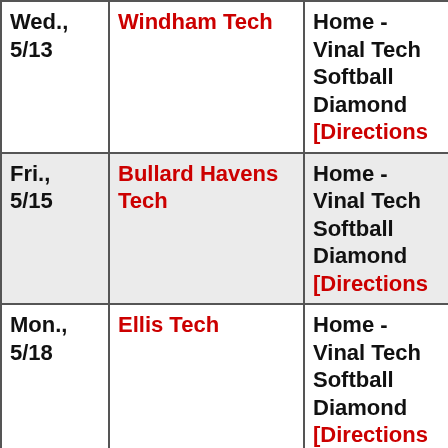| Date | Opponent | Location |
| --- | --- | --- |
| Wed., 5/13 | Windham Tech | Home - Vinal Tech Softball Diamond [Directions] |
| Fri., 5/15 | Bullard Havens Tech | Home - Vinal Tech Softball Diamond [Directions] |
| Mon., 5/18 | Ellis Tech | Home - Vinal Tech Softball Diamond [Directions] |